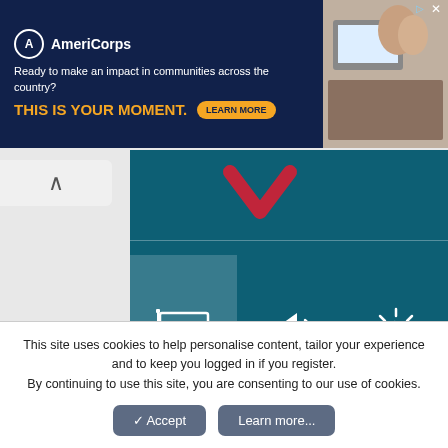[Figure (screenshot): AmeriCorps advertisement banner with logo, tagline 'Ready to make an impact in communities across the country? THIS IS YOUR MOMENT.' and LEARN MORE button, with photo of people at computers on the right.]
[Figure (screenshot): Windows 8/10 action center / settings charm panel showing teal background with six icons: Network 3 (highlighted), 67 (volume), Unavailable (brightness), Notifications, Power, Keyboard. 'Change PC settings' link at bottom.]
This site uses cookies to help personalise content, tailor your experience and to keep you logged in if you register.
By continuing to use this site, you are consenting to our use of cookies.
✓ Accept   Learn more...